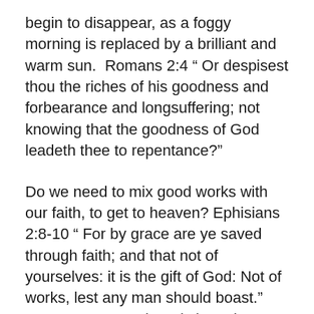begin to disappear, as a foggy morning is replaced by a brilliant and warm sun.  Romans 2:4 “ Or despisest thou the riches of his goodness and forbearance and longsuffering; not knowing that the goodness of God leadeth thee to repentance?”
Do we need to mix good works with our faith, to get to heaven? Ephisians 2:8-10 “ For by grace are ye saved through faith; and that not of yourselves: it is the gift of God: Not of works, lest any man should boast.” Romans 3:27 “ Where is boasting then? It is excluded. By what law? of works? Nay: but by the law of faith.” Lucifer’s original sin, was one of boasting. His brightness and beauty led him to be vain, and think more of himself, then of his Creator. God wants us to come to Him completely